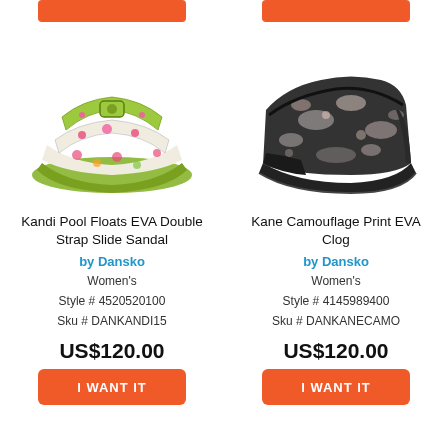[Figure (photo): Kandi Pool Floats EVA Double Strap Slide Sandal by Dansko - floral print green sandal]
Kandi Pool Floats EVA Double Strap Slide Sandal
by Dansko
Women's
Style # 4520520100
Sku # DANKANDI15
US$120.00
[Figure (photo): Kane Camouflage Print EVA Clog by Dansko - dark camo print clog]
Kane Camouflage Print EVA Clog
by Dansko
Women's
Style # 4145989400
Sku # DANKANECAMO
US$120.00